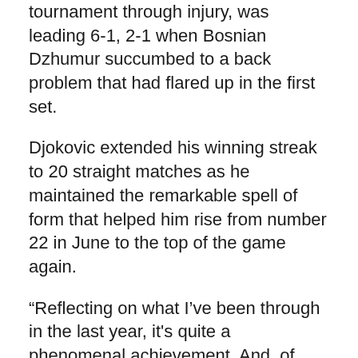tournament through injury, was leading 6-1, 2-1 when Bosnian Dzhumur succumbed to a back problem that had flared up in the first set.
Djokovic extended his winning streak to 20 straight matches as he maintained the remarkable spell of form that helped him rise from number 22 in June to the top of the game again.
“Reflecting on what I’ve been through in the last year, it's quite a phenomenal achievement. And, of course, I'm very, very happy and proud about it,” the Serb told reporters.
Dzumhur suffered a tweak to his lower back